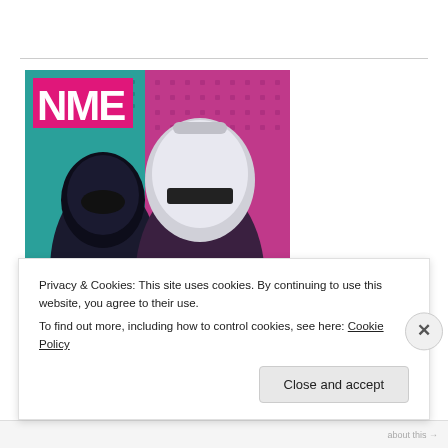[Figure (photo): NME magazine cover featuring Daft Punk in their iconic robot helmets against a pink/teal geometric background. The cover reads 'WE DON'T HAVE EGOS, WE HAVE SUPERPOWERS' and 'DAFT PUNK' in bold white and pink text. The NME logo appears in pink at the top left.]
Privacy & Cookies: This site uses cookies. By continuing to use this website, you agree to their use.
To find out more, including how to control cookies, see here: Cookie Policy
Close and accept